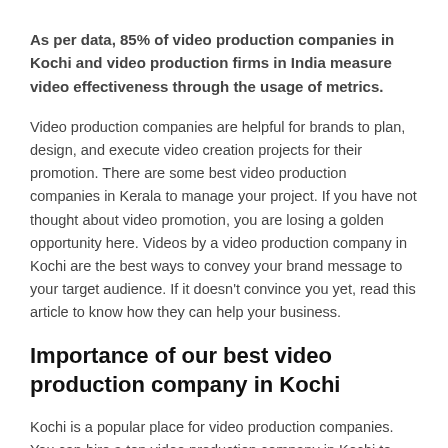As per data, 85% of video production companies in Kochi and video production firms in India measure video effectiveness through the usage of metrics.
Video production companies are helpful for brands to plan, design, and execute video creation projects for their promotion. There are some best video production companies in Kerala to manage your project. If you have not thought about video promotion, you are losing a golden opportunity here. Videos by a video production company in Kochi are the best ways to convey your brand message to your target audience. If it doesn't convince you yet, read this article to know how they can help your business.
Importance of our best video production company in Kochi
Kochi is a popular place for video production companies. You can hire a top video production company in Kochi to work on your project.